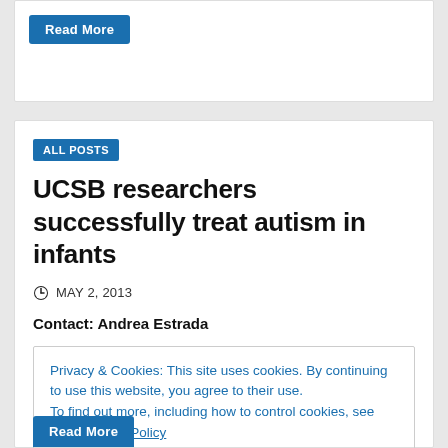Read More
ALL POSTS
UCSB researchers successfully treat autism in infants
MAY 2, 2013
Contact: Andrea Estrada
Privacy & Cookies: This site uses cookies. By continuing to use this website, you agree to their use. To find out more, including how to control cookies, see here: Cookie Policy
Close and accept
Read More